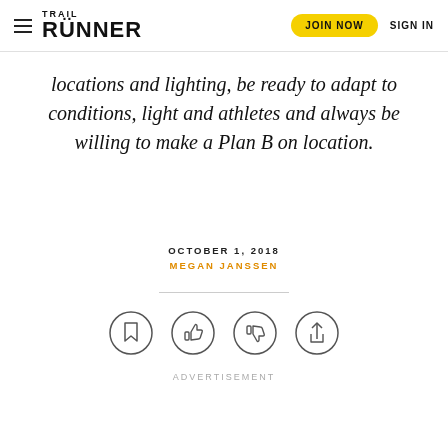Trail Runner — JOIN NOW   SIGN IN
locations and lighting, be ready to adapt to conditions, light and athletes and always be willing to make a Plan B on location.
OCTOBER 1, 2018
MEGAN JANSSEN
[Figure (infographic): Four circular icon buttons: bookmark, thumbs up, thumbs down, share]
ADVERTISEMENT